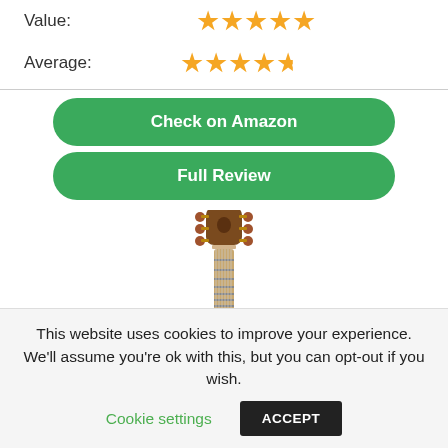Value: ★★★★★
Average: ★★★★★
Check on Amazon
Full Review
[Figure (photo): Guitar headstock and neck photographed from above, showing tuning pegs and fretboard]
This website uses cookies to improve your experience. We'll assume you're ok with this, but you can opt-out if you wish.
Cookie settings
ACCEPT